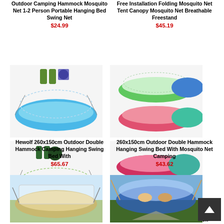Outdoor Camping Hammock Mosquito Net 1-2 Person Portable Hanging Bed Swing Net
$24.99
Free Installation Folding Mosquito Net Tent Canopy Mosquito Net Breathable Freestand
$45.19
[Figure (photo): Blue camping hammock with mosquito net and accessories]
[Figure (photo): Two hammocks with mosquito nets in green and blue colors]
[Figure (photo): Green camping hammock with accessories]
[Figure (photo): Two hammocks in pink and teal colors]
Hewolf 260x150cm Outdoor Double Hammock Camping Hanging Swing Bed With
$65.67
260x150cm Outdoor Double Hammock Hanging Swing Bed With Mosquito Net Camping
$43.62
[Figure (photo): Tan/olive hammock with mosquito net outdoors]
[Figure (photo): Blue hammock with people sitting inside, outdoors in trees; below: small tent hammock]